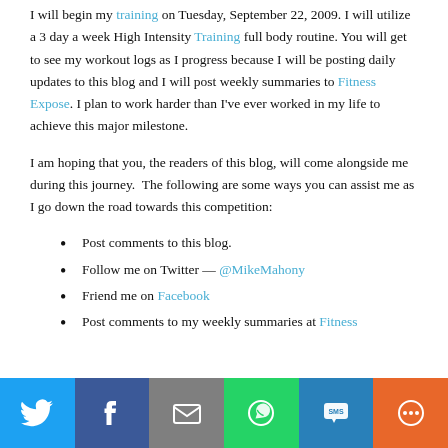I will begin my training on Tuesday, September 22, 2009. I will utilize a 3 day a week High Intensity Training full body routine. You will get to see my workout logs as I progress because I will be posting daily updates to this blog and I will post weekly summaries to Fitness Expose. I plan to work harder than I've ever worked in my life to achieve this major milestone.
I am hoping that you, the readers of this blog, will come alongside me during this journey. The following are some ways you can assist me as I go down the road towards this competition:
Post comments to this blog.
Follow me on Twitter — @MikeMahony
Friend me on Facebook
Post comments to my weekly summaries at Fitness